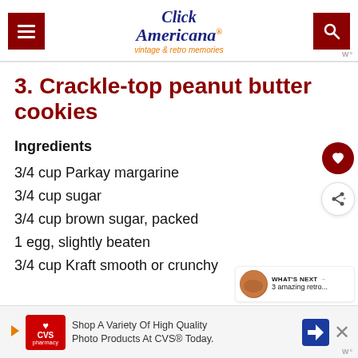Click Americana - vintage & retro memories
3. Crackle-top peanut butter cookies
Ingredients
3/4 cup Parkay margarine
3/4 cup sugar
3/4 cup brown sugar, packed
1 egg, slightly beaten
3/4 cup Kraft smooth or crunchy
[Figure (screenshot): CVS pharmacy advertisement banner: Shop A Variety Of High Quality Photo Products At CVS® Today.]